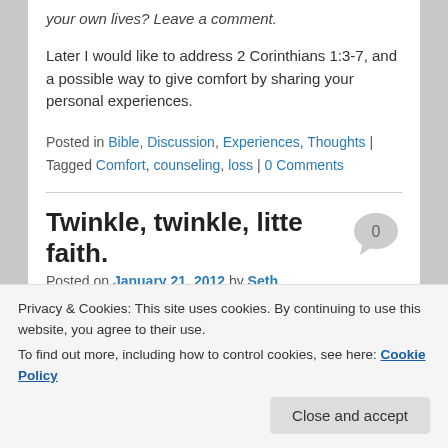your own lives? Leave a comment.
Later I would like to address 2 Corinthians 1:3-7, and a possible way to give comfort by sharing your personal experiences.
Posted in Bible, Discussion, Experiences, Thoughts | Tagged Comfort, counseling, loss | 0 Comments
Twinkle, twinkle, litte faith.
Posted on January 21, 2012 by Seth
Sunday's sermon. The man seated next to him was
Privacy & Cookies: This site uses cookies. By continuing to use this website, you agree to their use. To find out more, including how to control cookies, see here: Cookie Policy